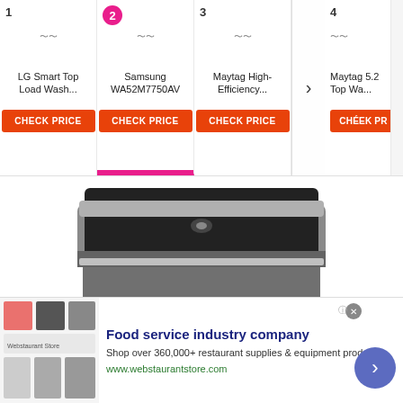[Figure (screenshot): Product comparison carousel showing 4 washing machines numbered 1-4: LG Smart Top Load Wash..., Samsung WA52M7750AV (selected), Maytag High-Efficiency..., Maytag 5.2 Top Wa... Each has a CHECK PRICE button in orange. A navigation arrow > is visible on the right.]
[Figure (photo): Large product photo of a Maytag top-load washing machine in slate/dark grey color with the lid open showing the interior drum. The Maytag logo is visible on the front.]
[Figure (screenshot): Advertisement banner for 'Food service industry company' with text 'Shop over 360,000+ restaurant supplies & equipment produc...' and URL www.webstaurantstore.com. Shows product thumbnails on left and a blue circular arrow button on right.]